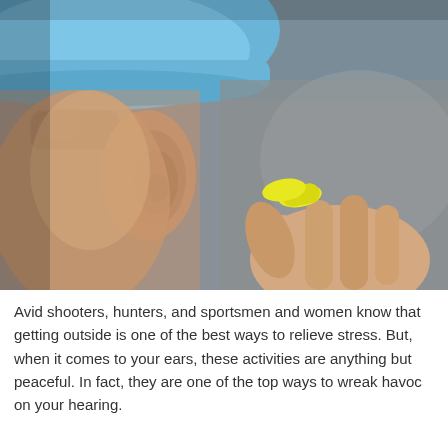[Figure (photo): Close-up photo of a person wearing a blue hard hat and safety glasses, with a hand holding a yellow foam earplug near their ear, suggesting hearing protection in a work or shooting context.]
Avid shooters, hunters, and sportsmen and women know that getting outside is one of the best ways to relieve stress. But, when it comes to your ears, these activities are anything but peaceful. In fact, they are one of the top ways to wreak havoc on your hearing.